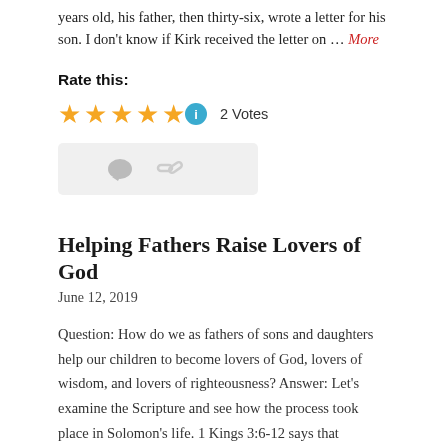years old, his father, then thirty-six, wrote a letter for his son. I don't know if Kirk received the letter on … More
Rate this:
[Figure (other): Five gold star rating with info circle icon and '2 Votes' text]
[Figure (other): Gray icon bar with comment bubble and link icons]
Helping Fathers Raise Lovers of God
June 12, 2019
Question: How do we as fathers of sons and daughters help our children to become lovers of God, lovers of wisdom, and lovers of righteousness? Answer: Let's examine the Scripture and see how the process took place in Solomon's life. 1 Kings 3:6-12 says that Solomon asked God for wisdom (an understanding